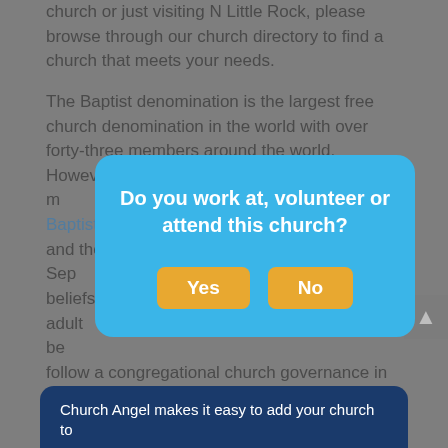church or just visiting N Little Rock, please browse through our church directory to find a church that meets your needs.
The Baptist denomination is the largest free church denomination in the world with over forty-three members around the world. However, nearly thirty-three m... of Baptist ... th and the Sep... England ... ch's beliefs ... of adult be... denominations follow a congregational church governance in which each individual congregation is governed autonomously. Thanks for using ChurchAngel.com - the ultimate church finder!
[Figure (screenshot): Modal dialog overlay with blue background asking 'Do you work at, volunteer or attend this church?' with Yes and No buttons in orange/yellow.]
Church Angel makes it easy to add your church to